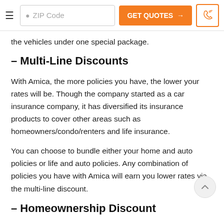ZIP Code | GET QUOTES → | [phone icon]
the vehicles under one special package.
– Multi-Line Discounts
With Amica, the more policies you have, the lower your rates will be. Though the company started as a car insurance company, it has diversified its insurance products to cover other areas such as homeowners/condo/renters and life insurance.
You can choose to bundle either your home and auto policies or life and auto policies. Any combination of policies you have with Amica will earn you lower rates via the multi-line discount.
– Homeownership Discount